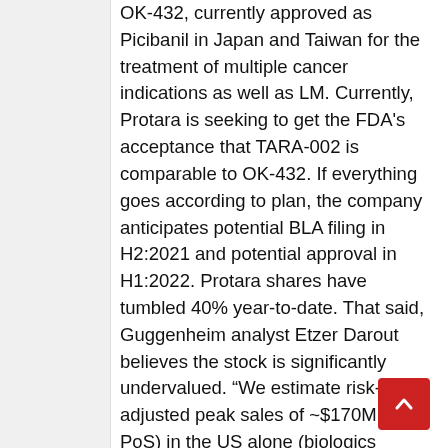OK-432, currently approved as Picibanil in Japan and Taiwan for the treatment of multiple cancer indications as well as LM. Currently, Protara is seeking to get the FDA's acceptance that TARA-002 is comparable to OK-432. If everything goes according to plan, the company anticipates potential BLA filing in H2:2021 and potential approval in H1:2022. Protara shares have tumbled 40% year-to-date. That said, Guggenheim analyst Etzer Darout believes the stock is significantly undervalued. “We estimate risk-adjusted peak sales of ~$170M (75% PoS) in the US alone (biologics exclusivity to 2034-2035),” the 5-star analyst said. “The company has outlined a ‘no additional study scenario’ that estimates a US launch in 2023 and potential additional registration...